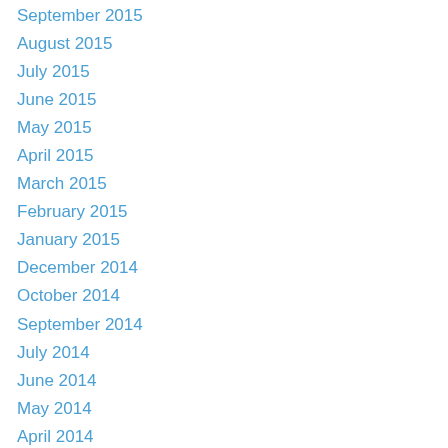September 2015
August 2015
July 2015
June 2015
May 2015
April 2015
March 2015
February 2015
January 2015
December 2014
October 2014
September 2014
July 2014
June 2014
May 2014
April 2014
February 2014
January 2014
December 2013
November 2013